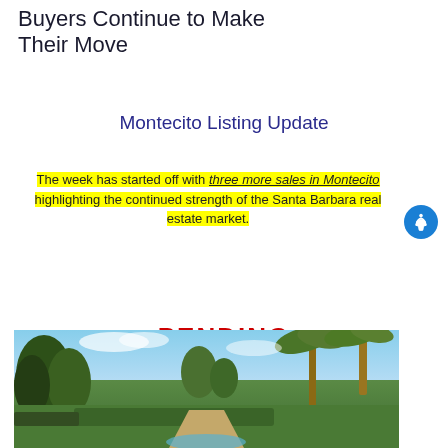Buyers Continue to Make Their Move
Montecito Listing Update
The week has started off with three more sales in Montecito highlighting the continued strength of the Santa Barbara real estate market.
PENDING
[Figure (photo): Outdoor photograph of a lush estate garden with palm trees, green hedges, manicured lawns, and a blue sky in Montecito / Santa Barbara area.]